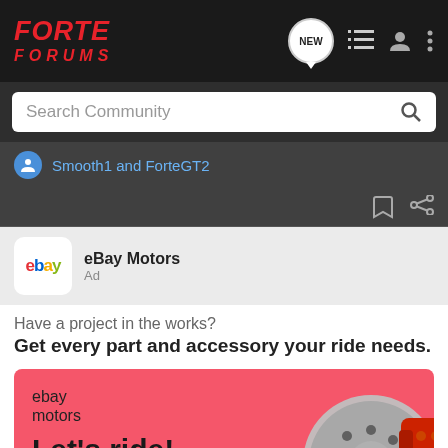FORTE FORUMS
Search Community
Smooth1 and ForteGT2
eBay Motors
Ad
Have a project in the works?
Get every part and accessory your ride needs.
[Figure (screenshot): eBay Motors advertisement banner with pink background showing 'ebay motors' logo, 'Let's ride!' headline, and a brake disc image]